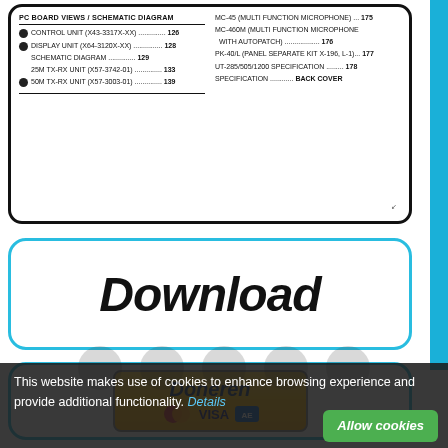[Figure (other): Document table of contents / index excerpt showing PC board views, schematic diagrams, control unit, display unit, TX-RX units and accessories with page numbers]
Download
[Figure (other): PayPal Doneren (Donate) button with MasterCard and Visa card logos]
This website makes use of cookies to enhance browsing experience and provide additional functionality. Details